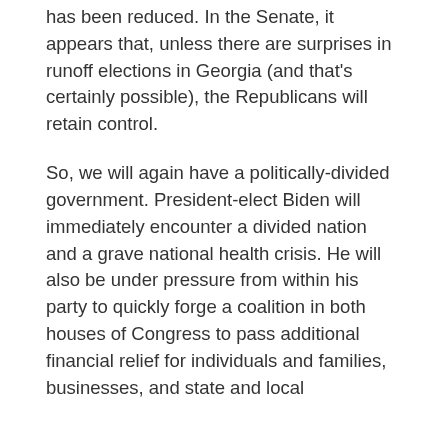has been reduced. In the Senate, it appears that, unless there are surprises in runoff elections in Georgia (and that's certainly possible), the Republicans will retain control.
So, we will again have a politically-divided government. President-elect Biden will immediately encounter a divided nation and a grave national health crisis. He will also be under pressure from within his party to quickly forge a coalition in both houses of Congress to pass additional financial relief for individuals and families, businesses, and state and local